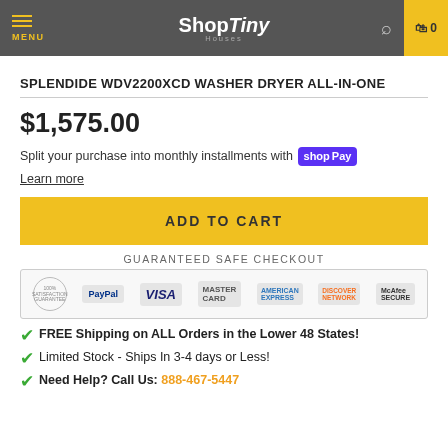ShopTiny Houses — MENU | search | cart 0
SPLENDIDE WDV2200XCD WASHER DRYER ALL-IN-ONE
$1,575.00
Split your purchase into monthly installments with shop Pay
Learn more
ADD TO CART
[Figure (infographic): Guaranteed Safe Checkout banner with payment method logos: 100% Satisfaction, PayPal, Visa, Mastercard, American Express, Discover Network, McAfee Secure]
FREE Shipping on ALL Orders in the Lower 48 States!
Limited Stock - Ships In 3-4 days or Less!
Need Help? Call Us: 888-467-5447